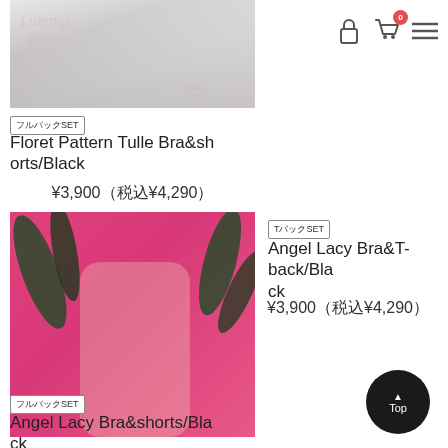[Figure (photo): Top banner image showing lingerie product on model against white/grey background with Lunange gelina logo overlay]
Lunange gelina — navigation with lock icon, shopping cart (0 items), and hamburger menu
フルバックSET
Floret Pattern Tulle Bra&shorts/Black
¥3,900(税込¥4,290)
[Figure (photo): Product photo of model wearing black lacy lingerie set against pink background with tropical leaves]
TバックSET
Angel Lacy Bra&T-back/Black
¥3,900(税込¥4,290)
フルバックSET
Angel Lacy Bra&shorts/Black